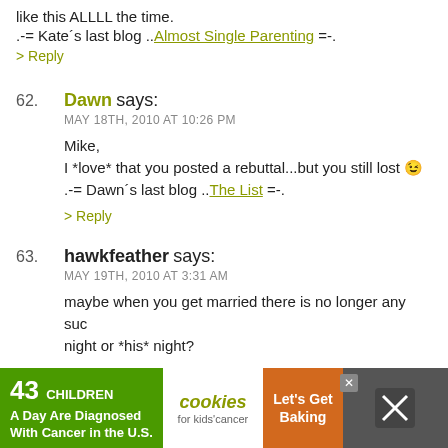like this ALLLL the time.
.-= Kate´s last blog ..Almost Single Parenting =-.
> Reply
62. Dawn says: MAY 18TH, 2010 AT 10:26 PM — Mike, I *love* that you posted a rebuttal...but you still lost .-= Dawn´s last blog ..The List =-.
> Reply
63. hawkfeather says: MAY 19TH, 2010 AT 3:31 AM — maybe when you get married there is no longer any such thing as *her* night or *his* night? It is one mashed together version of harmony only a truly married couple can laugh about. I for the record fully support still calling certain nights "
[Figure (other): Advertisement banner: 43 CHILDREN A Day Are Diagnosed With Cancer in the U.S. | cookies for kids cancer | Let's Get Baking]